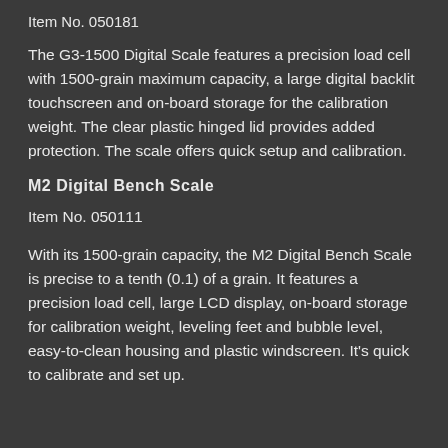Item No. 050181
The G3-1500 Digital Scale features a precision load cell with 1500-grain maximum capacity, a large digital backlit touchscreen and on-board storage for the calibration weight. The clear plastic hinged lid provides added protection. The scale offers quick setup and calibration.
M2 Digital Bench Scale
Item No. 050111
With its 1500-grain capacity, the M2 Digital Bench Scale is precise to a tenth (0.1) of a grain. It features a precision load cell, large LCD display, on-board storage for calibration weight, leveling feet and bubble level, easy-to-clean housing and plastic windscreen. It's quick to calibrate and set up.